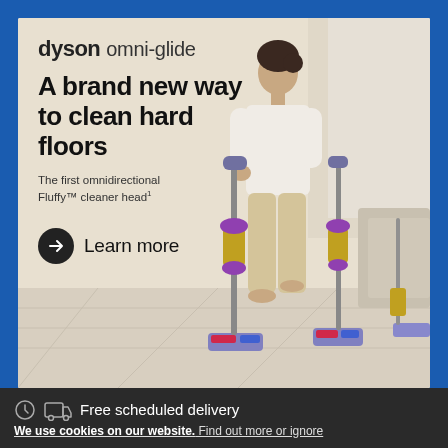dyson omni-glide
A brand new way to clean hard floors
The first omnidirectional Fluffy™ cleaner head¹
Learn more
[Figure (photo): Woman using Dyson Omni-Glide vacuum on hard floor, with multiple vacuum units shown, bright indoor setting]
Free scheduled delivery
We use cookies on our website. Find out more or ignore